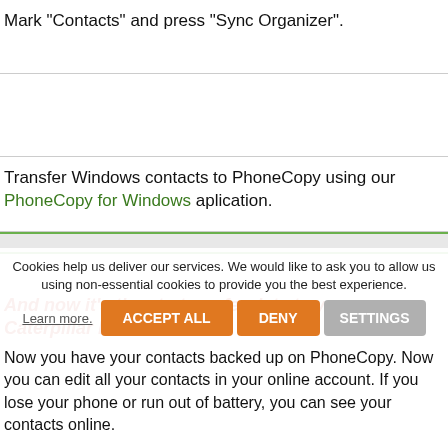Mark "Contacts" and press "Sync Organizer".
Transfer Windows contacts to PhoneCopy using our PhoneCopy for Windows aplication.
And now it's time to transfer data to your Caterpillar B35
Now you have your contacts backed up on PhoneCopy. Now you can edit all your contacts in your online account. If you lose your phone or run out of battery, you can see your contacts online.
Cookies help us deliver our services. We would like to ask you to allow us using non-essential cookies to provide you the best experience.